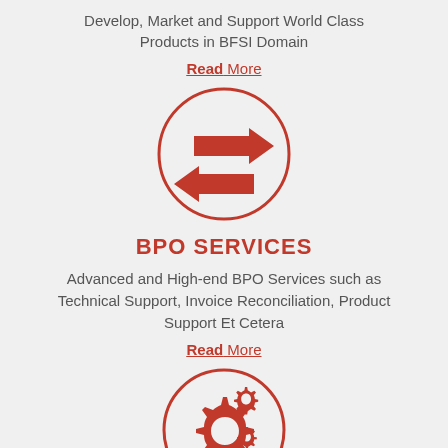Develop, Market and Support World Class Products in BFSI Domain
Read More
[Figure (illustration): Circle icon with two horizontal arrows pointing in opposite directions (left and right), in orange/red color]
BPO SERVICES
Advanced and High-end BPO Services such as Technical Support, Invoice Reconciliation, Product Support Et Cetera
Read More
[Figure (illustration): Circle icon with gear/cog symbols in orange/red color]